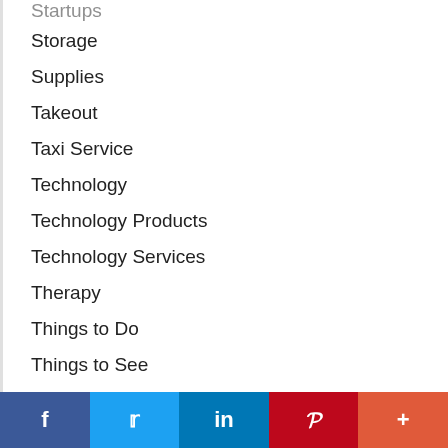Storage
Supplies
Takeout
Taxi Service
Technology
Technology Products
Technology Services
Therapy
Things to Do
Things to See
Tires
Tools
Towing
f  t  in  P  +